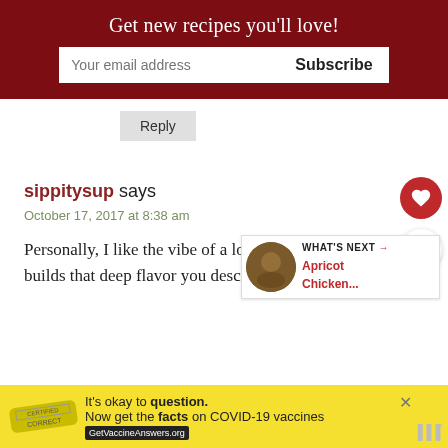Get new recipes you'll love!
Reply
sippitysup says
October 17, 2017 at 8:38 am
Personally, I like the vibe of a long ingredients list. It builds that deep flavor you described so well. GREG
[Figure (infographic): WHAT'S NEXT arrow with Apricot Chicken recipe thumbnail]
[Figure (infographic): COVID-19 vaccine advertisement banner: It's okay to question. Now get the facts on COVID-19 vaccines. GetVaccineAnswers.org]